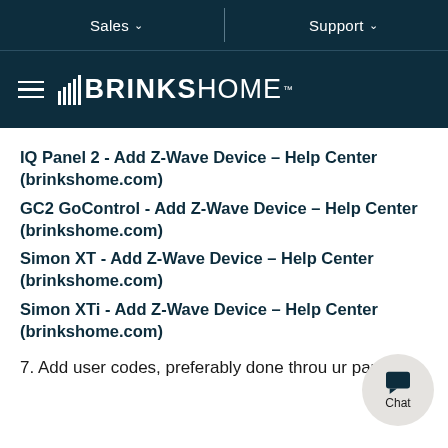Sales ∨   Support ∨
[Figure (logo): Brinks Home logo with hamburger menu icon on dark teal background]
IQ Panel 2 - Add Z-Wave Device – Help Center (brinkshome.com)
GC2 GoControl - Add Z-Wave Device – Help Center (brinkshome.com)
Simon XT - Add Z-Wave Device – Help Center (brinkshome.com)
Simon XTi - Add Z-Wave Device – Help Center (brinkshome.com)
7. Add user codes, preferably done through your panel.